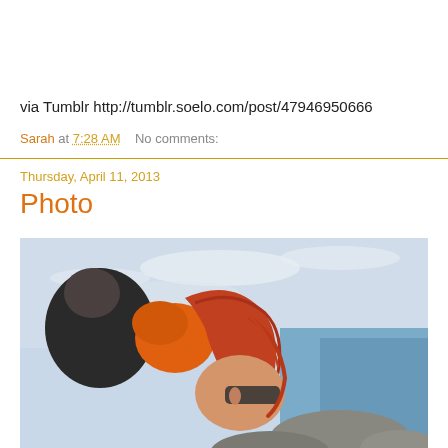via Tumblr http://tumblr.soelo.com/post/47946950666
Sarah at 7:28 AM    No comments:
Thursday, April 11, 2013
Photo
[Figure (photo): A woman with red hair in a ponytail wearing an orange life jacket, leaning over rocks near the ocean. Another person in a black jacket is partially visible. Sky with clouds visible in background.]